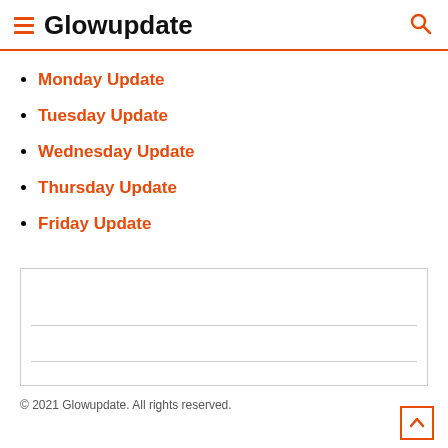Glowupdate
Monday Update
Tuesday Update
Wednesday Update
Thursday Update
Friday Update
[Figure (other): Advertisement placeholder box with two horizontal divider lines]
© 2021 Glowupdate. All rights reserved.